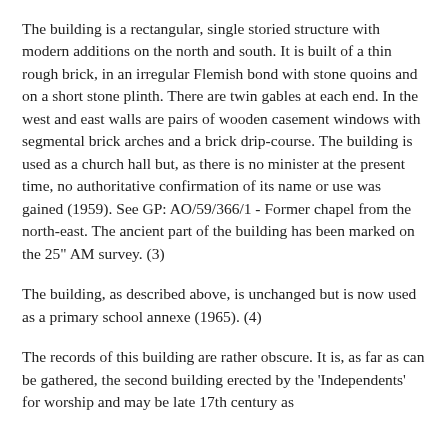The building is a rectangular, single storied structure with modern additions on the north and south. It is built of a thin rough brick, in an irregular Flemish bond with stone quoins and on a short stone plinth. There are twin gables at each end. In the west and east walls are pairs of wooden casement windows with segmental brick arches and a brick drip-course. The building is used as a church hall but, as there is no minister at the present time, no authoritative confirmation of its name or use was gained (1959). See GP: AO/59/366/1 - Former chapel from the north-east. The ancient part of the building has been marked on the 25" AM survey. (3)
The building, as described above, is unchanged but is now used as a primary school annexe (1965). (4)
The records of this building are rather obscure. It is, as far as can be gathered, the second building erected by the 'Independents' for worship and may be late 17th century as